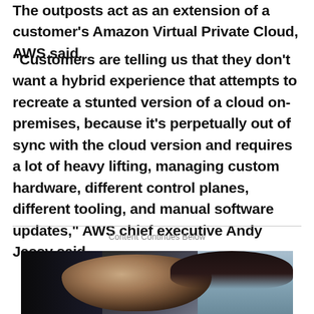The outposts act as an extension of a customer's Amazon Virtual Private Cloud, AWS said.
“Customers are telling us that they don’t want a hybrid experience that attempts to recreate a stunted version of a cloud on-premises, because it’s perpetually out of sync with the cloud version and requires a lot of heavy lifting, managing custom hardware, different control planes, different tooling, and manual software updates,” AWS chief executive Andy Jassy said.
Content Continues Below
[Figure (photo): Photo of a person (woman with dark hair) against a light blue background, partially in shadow on left side]